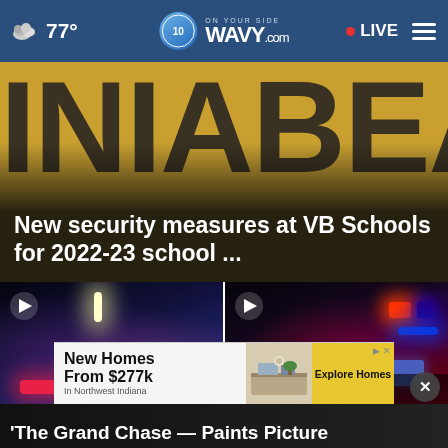77° WAVY.com ON YOUR SIDE LIVE
[Figure (screenshot): Hero banner showing yellow/gold background with large dark text reading 'INIA' on the left and 'BEA' on the right (partial Virginia Beach text). Overlay text: 'New security measures at VB Schools for 2022-23 school ...']
New security measures at VB Schools for 2022-23 school ...
[Figure (screenshot): Two video thumbnails side by side. Left shows police cars with red and blue emergency lights at night. Right shows a police vehicle with red tail lights and blue lights at night.]
[Figure (screenshot): Advertisement banner: 'New Homes From $277k In Northwest Indiana' with 'Explore Homes' CTA button, showing a kitchen interior image.]
'The Grand Chase' — Paints Picture